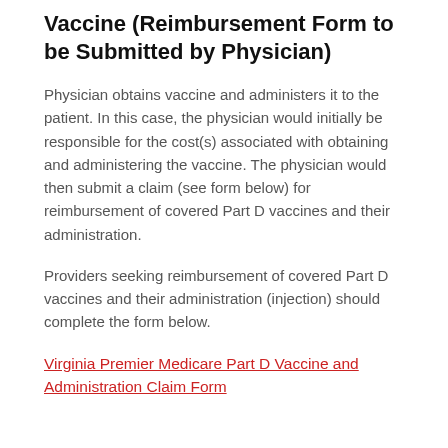Vaccine (Reimbursement Form to be Submitted by Physician)
Physician obtains vaccine and administers it to the patient. In this case, the physician would initially be responsible for the cost(s) associated with obtaining and administering the vaccine. The physician would then submit a claim (see form below) for reimbursement of covered Part D vaccines and their administration.
Providers seeking reimbursement of covered Part D vaccines and their administration (injection) should complete the form below.
Virginia Premier Medicare Part D Vaccine and Administration Claim Form